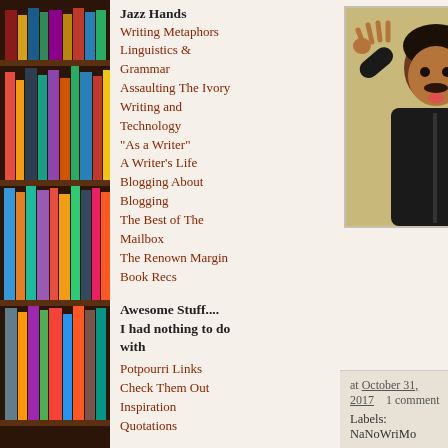[Figure (photo): Bookshelf with colorful books as sidebar background]
Jazz Hands
Writing Metaphors
Linguistics & Grammar
Assaulting The Ivory
Writing and Technology
"As a Writer"
A Writer's Life
Blogging About Blogging
The Best of The Mailbox
The Renown Margin
Book Recs
Awesome Stuff....
I had nothing to do with
Potpourri Links
Check Them Out
Inspiration
Quotations
Guest Bloggers
Introducing...
Listicles About
[Figure (photo): Man in black jacket making jazz hands gesture with tongue out, against yellow/cream wall]
at October 31, 2017   1 comment
Labels: NaNoWriMo